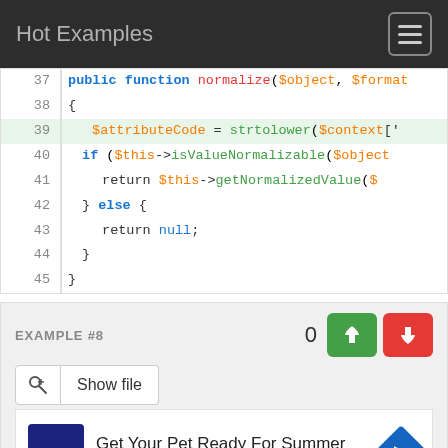Hot Examples
[Figure (screenshot): PHP code snippet showing lines 37-45 of a normalize function. Line 39 is highlighted in green. Code includes public function normalize, $attributeCode = strtolower($context[...]), if ($this->isValueNormalizable($object...), return $this->getNormalizedValue($..., } else {, return null;, }, }]
EXAMPLE #8
0
[Figure (screenshot): Tab buttons: link icon tab and Show file tab]
[Figure (screenshot): Advertisement: Petco - Get Your Pet Ready For Summer, with Petco logo and navigation arrow icon]